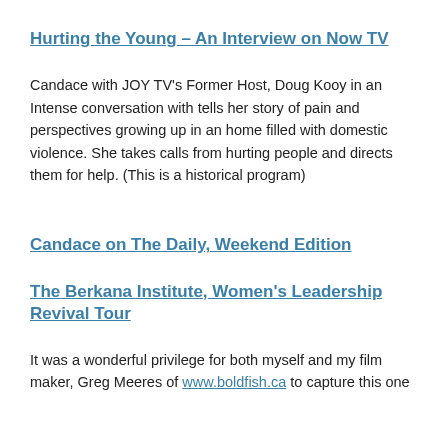Hurting the Young – An Interview on Now TV
Candace with JOY TV's Former Host, Doug Kooy in an Intense conversation with tells her story of pain and perspectives growing up in an home filled with domestic violence. She takes calls from hurting people and directs them for help. (This is a historical program)
Candace on The Daily, Weekend Edition
The Berkana Institute, Women's Leadership Revival Tour
It was a wonderful privilege for both myself and my film maker, Greg Meeres of www.boldfish.ca to capture this one